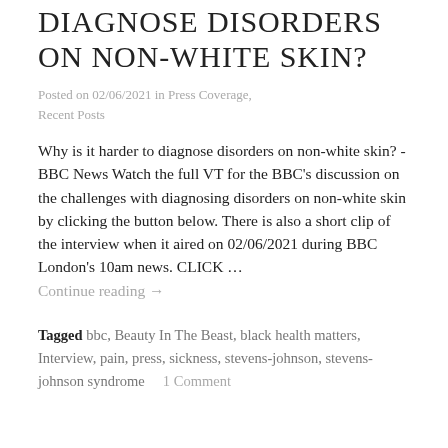DIAGNOSE DISORDERS ON NON-WHITE SKIN?
Posted on 02/06/2021 in Press Coverage, Recent Posts
Why is it harder to diagnose disorders on non-white skin? - BBC News Watch the full VT for the BBC's discussion on the challenges with diagnosing disorders on non-white skin by clicking the button below. There is also a short clip of the interview when it aired on 02/06/2021 during BBC London's 10am news. CLICK …
Continue reading →
Tagged bbc, Beauty In The Beast, black health matters, Interview, pain, press, sickness, stevens-johnson, stevens-johnson syndrome   1 Comment